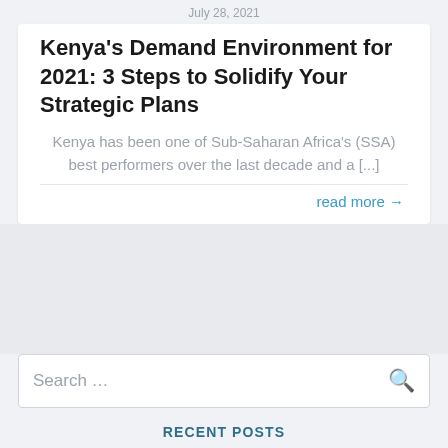July 28, 2021
Kenya's Demand Environment for 2021: 3 Steps to Solidify Your Strategic Plans
Kenya has been one of Sub-Saharan Africa's (SSA) best performers over the last decade and a [...]
read more →
Search ...
RECENT POSTS
India's inflation levels see temporary relief
B...